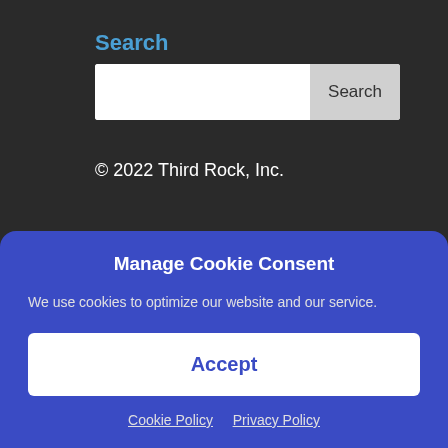Search
[Figure (screenshot): Search input box with a text field and a Search button]
© 2022 Third Rock, Inc.
About Us
Our Story
Manage Cookie Consent
We use cookies to optimize our website and our service.
Accept
Cookie Policy  Privacy Policy